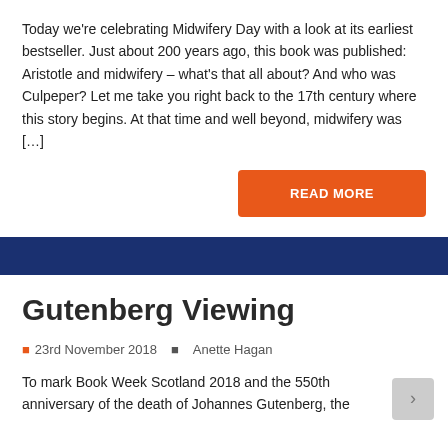Today we're celebrating Midwifery Day with a look at its earliest bestseller. Just about 200 years ago, this book was published: Aristotle and midwifery – what's that all about? And who was Culpeper? Let me take you right back to the 17th century where this story begins. At that time and well beyond, midwifery was […]
READ MORE
Gutenberg Viewing
23rd November 2018   Anette Hagan
To mark Book Week Scotland 2018 and the 550th anniversary of the death of Johannes Gutenberg, the